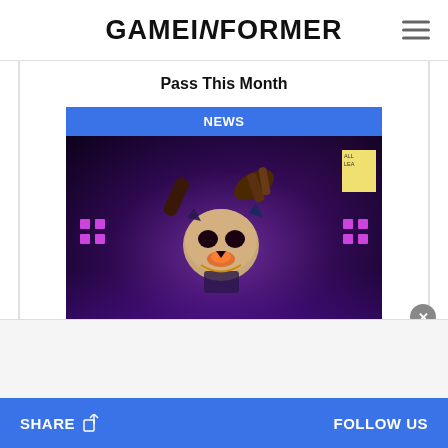GAMEiNFORMER
Pass This Month
[Figure (screenshot): Dying Light 2 Bloody Ties DLC promotional screenshot showing a skeletal/zombie character with purple stage lighting and purple dot lights on either side]
Dying Light 2: Bloody Ties DLC Teaser Trailer Released
SHARE  FOLLOW US